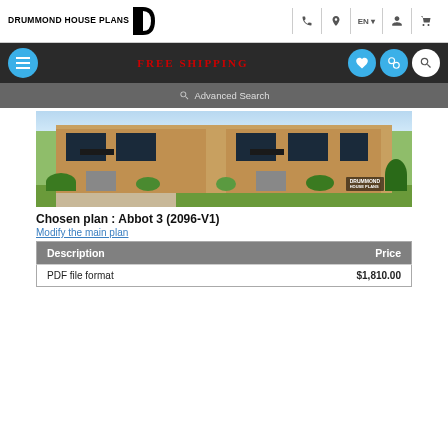DRUMMOND HOUSE PLANS
[Figure (screenshot): Navigation bar with hamburger menu, FREE SHIPPING text, heart icon, compare icon, and search icon on dark background]
[Figure (photo): Drummond House Plans exterior rendering of Abbot 3 (2096-V1) duplex house plan with brick facade, black staircases, landscaping, and Drummond House Plans watermark]
Chosen plan : Abbot 3 (2096-V1)
Modify the main plan
| Description | Price |
| --- | --- |
| PDF file format | $1,810.00 |